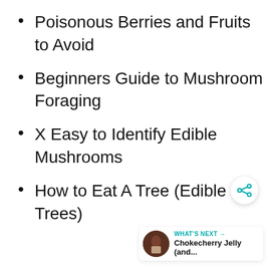Poisonous Berries and Fruits to Avoid
Beginners Guide to Mushroom Foraging
X Easy to Identify Edible Mushrooms
How to Eat A Tree (Edible Trees)